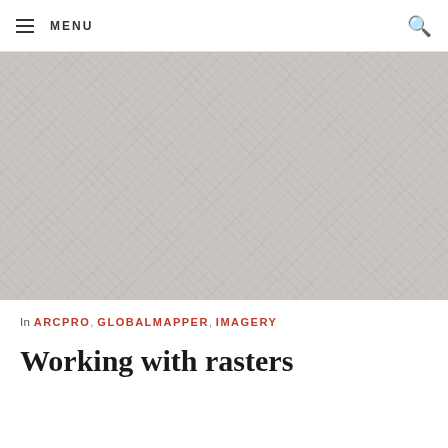MENU
[Figure (logo): Baseline GIS logo — art deco style badge with globe, diamond outline, red accents, and text 'BASELINE GIS' on a grey textured background]
In ARCPRO, GLOBALMAPPER, IMAGERY
Working with rasters